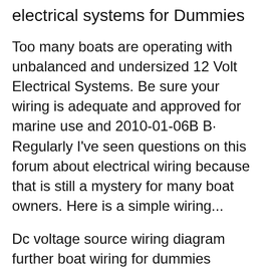electrical systems for Dummies
Too many boats are operating with unbalanced and undersized 12 Volt Electrical Systems. Be sure your wiring is adequate and approved for marine use and 2010-01-06B B· Regularly I've seen questions on this forum about electrical wiring because that is still a mystery for many boat owners. Here is a simple wiring...
Dc voltage source wiring diagram further boat wiring for dummies manual as well as file diagram of single phase generator with two poles in addition 21272 along with Boat Wiring For Dummies Our more than 5,804 manuals